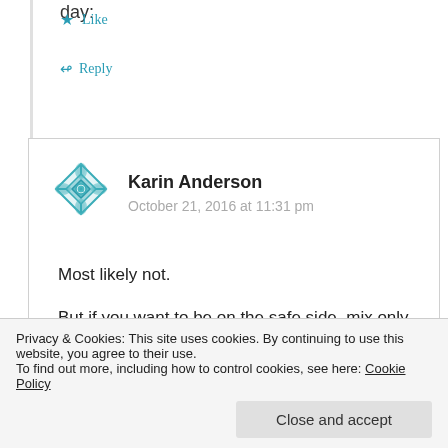day:
★ Like
↪ Reply
Karin Anderson
October 21, 2016 at 11:31 pm
Most likely not.
But if you want to be on the safe side, mix only
the soaker in the morning (so that the flax seeds
Privacy & Cookies: This site uses cookies. By continuing to use this website, you agree to their use.
To find out more, including how to control cookies, see here: Cookie Policy
Close and accept
http://hanseata.blogspot.com/2013/10/spelt-